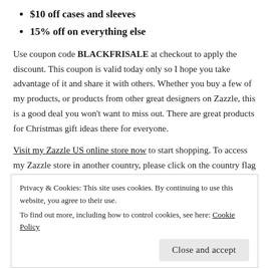$10 off cases and sleeves
15% off on everything else
Use coupon code BLACKFRISALE at checkout to apply the discount. This coupon is valid today only so I hope you take advantage of it and share it with others. Whether you buy a few of my products, or products from other great designers on Zazzle, this is a good deal you won't want to miss out. There are great products for Christmas gift ideas there for everyone.
Visit my Zazzle US online store now to start shopping. To access my Zazzle store in another country, please click on the country flag below. Happy shopping!
[Figure (illustration): Three country flags shown horizontally: Canadian flag (red with maple leaf), UK flag (Union Jack), German flag (black, red, yellow)]
Privacy & Cookies: This site uses cookies. By continuing to use this website, you agree to their use. To find out more, including how to control cookies, see here: Cookie Policy
Close and accept